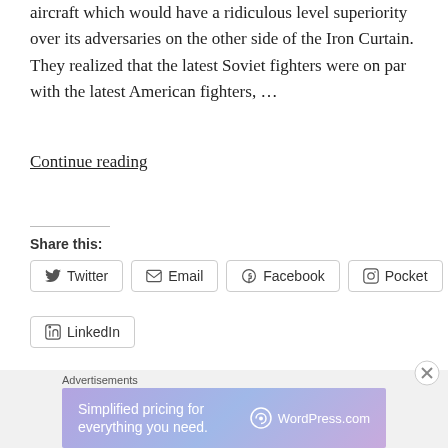aircraft which would have a ridiculous level superiority over its adversaries on the other side of the Iron Curtain. They realized that the latest Soviet fighters were on par with the latest American fighters, …
Continue reading
Share this:
Twitter
Email
Facebook
Pocket
LinkedIn
Loading…
Advertisements
Simplified pricing for everything you need.
WordPress.com